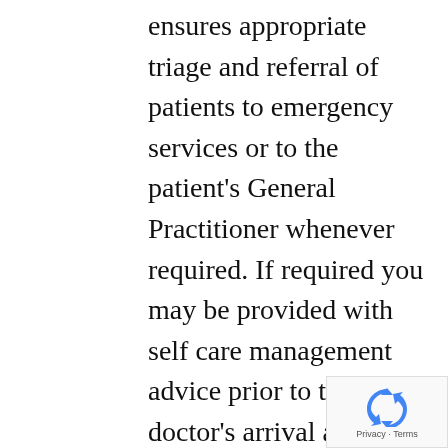ensures appropriate triage and referral of patients to emergency services or to the patient's General Practitioner whenever required. If required you may be provided with self care management advice prior to the doctor's arrival and are appropriately referred to emergency services if required. We can provide starter medications and scripts if needed. Your consult will be detailed in a report and is forwarded to your General Practitioner for continuity of care. For after hours locum Doctor Adelaide- Use Call The Doctor.
[Figure (logo): reCAPTCHA badge with recycling-arrow logo icon and 'Privacy - Terms' text link at bottom right corner]